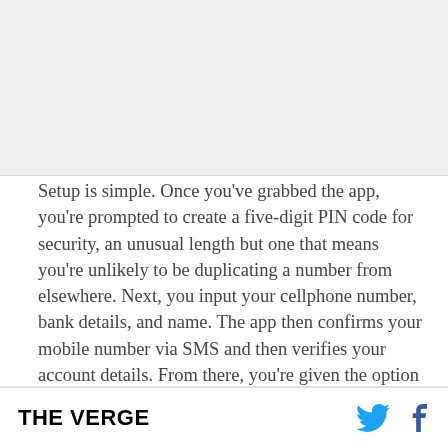[Figure (photo): Image placeholder area at top of page]
Setup is simple. Once you've grabbed the app, you're prompted to create a five-digit PIN code for security, an unusual length but one that means you're unlikely to be duplicating a number from elsewhere. Next, you input your cellphone number, bank details, and name. The app then confirms your mobile number via SMS and then verifies your account details. From there, you're given the option
THE VERGE